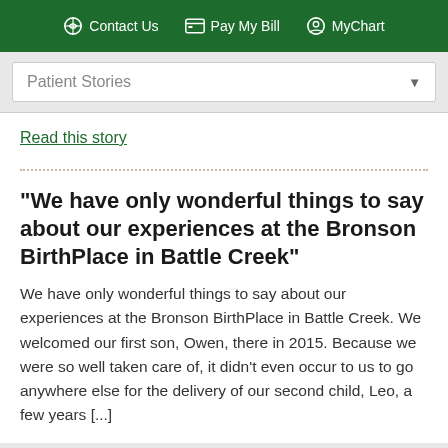Contact Us  Pay My Bill  MyChart
Patient Stories
Read this story
"We have only wonderful things to say about our experiences at the Bronson BirthPlace in Battle Creek"
We have only wonderful things to say about our experiences at the Bronson BirthPlace in Battle Creek. We welcomed our first son, Owen, there in 2015. Because we were so well taken care of, it didn’t even occur to us to go anywhere else for the delivery of our second child, Leo, a few years [...]